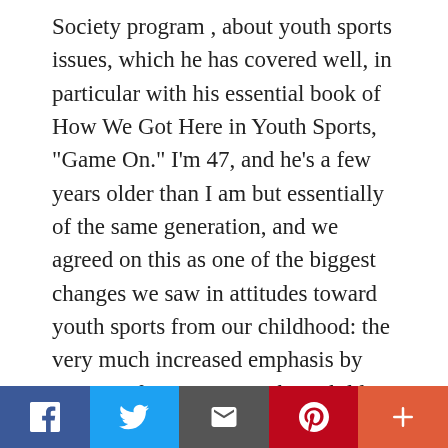Society program , about youth sports issues, which he has covered well, in particular with his essential book of How We Got Here in Youth Sports, "Game On." I'm 47, and he's a few years older than I am but essentially of the same generation, and we agreed on this as one of the biggest changes we saw in attitudes toward youth sports from our childhood: the very much increased emphasis by parents of means to get their children into college or pro sports, rather than assuming only poor kids who had no other options would even try to conceive of such goals. Since that conversion, if I may speak for Tom Farrey, as writers and sports parents we have only seen this trend increase. And this is borne out
[Figure (other): Social media sharing bar with buttons for Facebook, Twitter, Email, Pinterest, and More (+)]